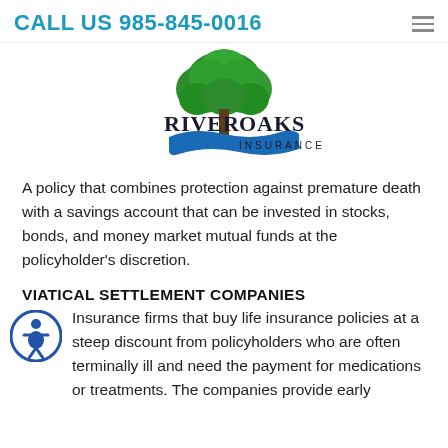CALL US 985-845-0016
[Figure (logo): River Oaks Insurance logo with green tree and blue river graphic]
A policy that combines protection against premature death with a savings account that can be invested in stocks, bonds, and money market mutual funds at the policyholder's discretion.
VIATICAL SETTLEMENT COMPANIES
Insurance firms that buy life insurance policies at a steep discount from policyholders who are often terminally ill and need the payment for medications or treatments. The companies provide early